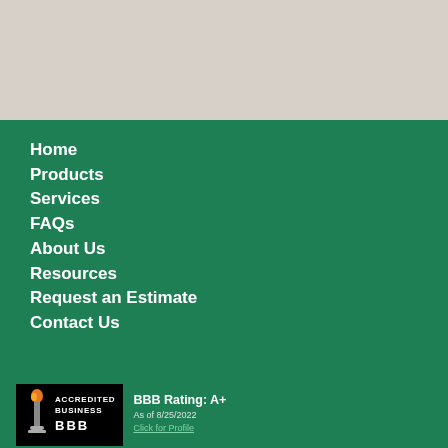[Figure (other): Light beige/grey top banner area]
Home
Products
Services
FAQs
About Us
Resources
Request an Estimate
Contact Us
[Figure (logo): BBB Accredited Business badge with BBB Rating: A+, As of 8/25/2022, Click for Profile]